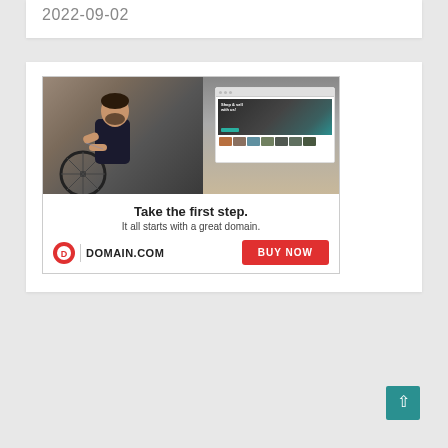2022-09-02
[Figure (illustration): Advertisement for Domain.com showing a tattooed man working on a bicycle, a website browser mockup, the tagline 'Take the first step. It all starts with a great domain.', Domain.com logo, and a red 'BUY NOW' button.]
Back to top button (teal arrow)